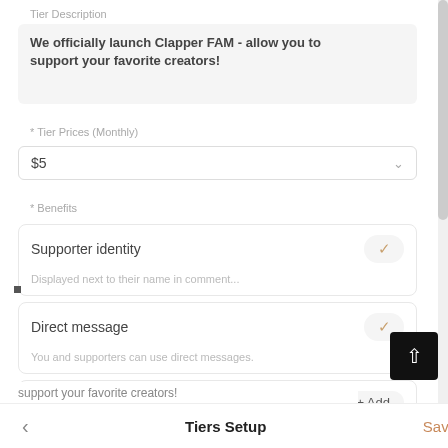Tier Description
We officially launch Clapper FAM - allow you to support your favorite creators!
* Tier Prices (Monthly)
$5
* Benefits
Supporter identity
Displayed next to their name in comment...
Direct message
You and supporters can use direct messages.
Promo code
Share the Promo codes of your online store.
I will follow you
Tiers Setup   Save
support your favorite creators!